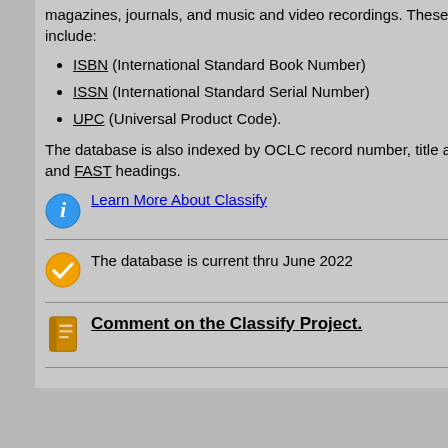magazines, journals, and music and video recordings. These numbers include:
ISBN (International Standard Book Number)
ISSN (International Standard Serial Number)
UPC (Universal Product Code).
The database is also indexed by OCLC record number, title and/or author and FAST headings.
Learn More About Classify
The database is current thru June 2022
Comment on the Classify Project.